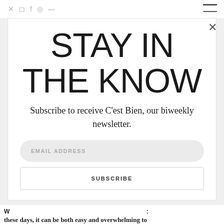Social icons and hamburger menu
STAY IN THE KNOW
Subscribe to receive C'est Bien, our biweekly newsletter.
EMAIL ADDRESS
SUBSCRIBE
these days, it can be both easy and overwhelming to